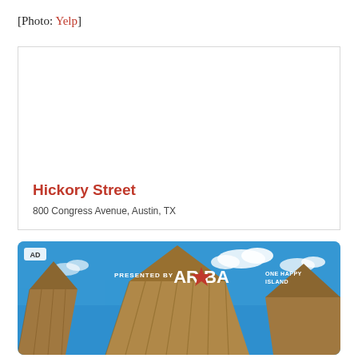[Photo: Yelp]
[Figure (other): Card showing Hickory Street venue with title and address: 800 Congress Avenue, Austin, TX]
[Figure (photo): Advertisement banner: PRESENTED BY ARUBA ONE HAPPY ISLAND, showing tropical thatched hut roofs under a blue sky with clouds. AD tag in upper left corner.]